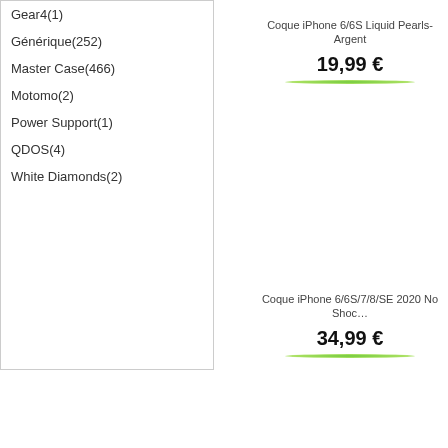Gear4(1)
Générique(252)
Master Case(466)
Motomo(2)
Power Support(1)
QDOS(4)
White Diamonds(2)
Coque iPhone 6/6S Liquid Pearls-Argent
19,99 €
Coque iPhone 6/6S/7/8/SE 2020 No Shoc…
34,99 €